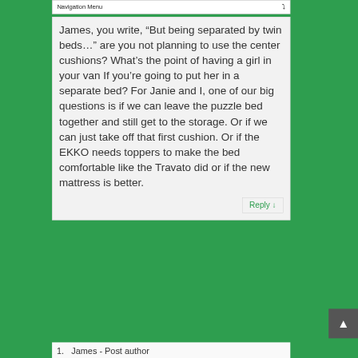Navigation Menu
James, you write, "But being separated by twin beds…" are you not planning to use the center cushions? What's the point of having a girl in your van If you're going to put her in a separate bed? For Janie and I, one of our big questions is if we can leave the puzzle bed together and still get to the storage. Or if we can just take off that first cushion. Or if the EKKO needs toppers to make the bed comfortable like the Travato did or if the new mattress is better.
Reply ↓
1. James - Post author